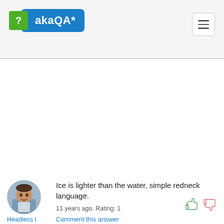akaQA*
Ice is lighter than the water, simple redneck language.
Headless I
Karma: 267094
Reg
11 years ago. Rating: 1
Comment this answer